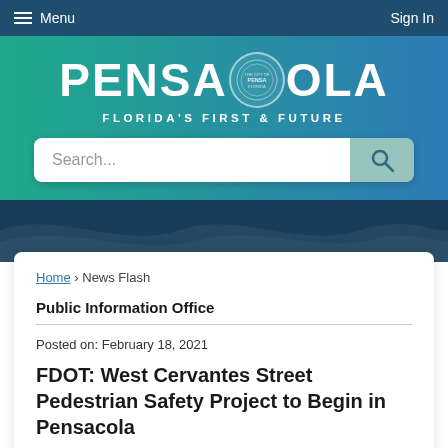Menu   Sign In
[Figure (logo): Pensacola city logo with seal and tagline FLORIDA'S FIRST & FUTURE on teal-to-blue gradient banner]
Search...
Home › News Flash
Public Information Office
Posted on: February 18, 2021
FDOT: West Cervantes Street Pedestrian Safety Project to Begin in Pensacola